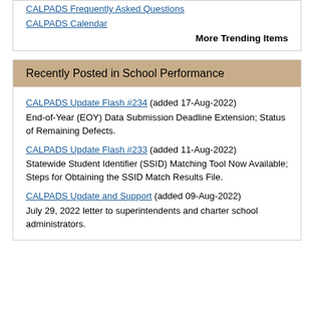CALPADS Frequently Asked Questions
CALPADS Calendar
More Trending Items
Recently Posted in School Performance
CALPADS Update Flash #234 (added 17-Aug-2022) End-of-Year (EOY) Data Submission Deadline Extension; Status of Remaining Defects.
CALPADS Update Flash #233 (added 11-Aug-2022) Statewide Student Identifier (SSID) Matching Tool Now Available; Steps for Obtaining the SSID Match Results File.
CALPADS Update and Support (added 09-Aug-2022) July 29, 2022 letter to superintendents and charter school administrators.